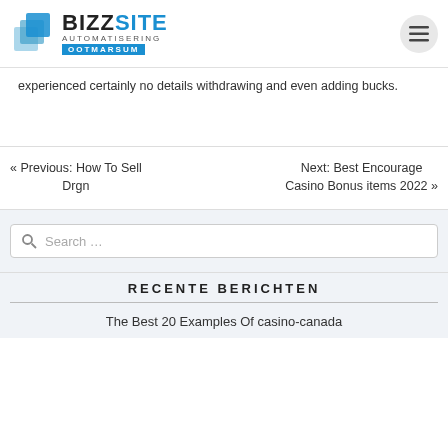BIZZSITE AUTOMATISERING OOTMARSUM
experienced certainly no details withdrawing and even adding bucks.
« Previous: How To Sell Drgn   Next: Best Encourage Casino Bonus items 2022 »
Search ...
RECENTE BERICHTEN
The Best 20 Examples Of casino-canada